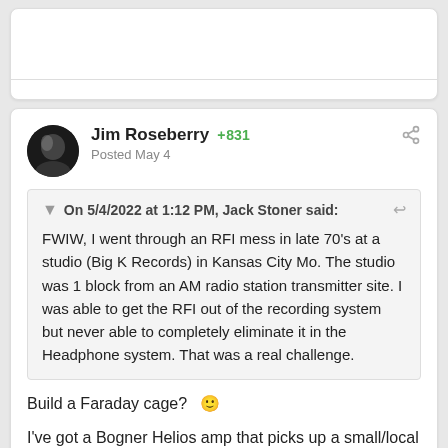Jim Roseberry  +831
Posted May 4
On 5/4/2022 at 1:12 PM, Jack Stoner said:
FWIW, I went through an RFI mess in late 70's at a studio (Big K Records) in Kansas City Mo.  The studio was 1 block from an AM radio station transmitter site.  I was able to get the RFI out of the recording system but never able to completely eliminate it in the Headphone system.   That was a real challenge.
Build a Faraday cage?  🙂
I've got a Bogner Helios amp that picks up a small/local